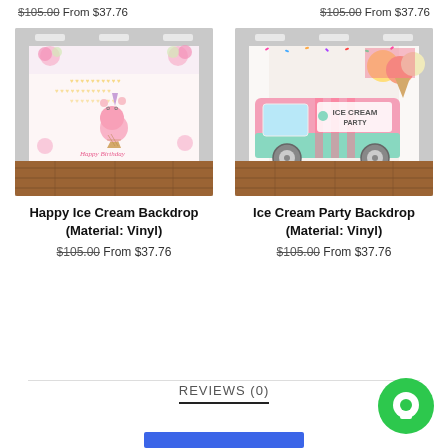$105.00 From $37.76   $105.00 From $37.76
[Figure (photo): Happy ice cream unicorn birthday backdrop product image displayed in a studio setting with wooden floor]
Happy Ice Cream Backdrop (Material: Vinyl)
$105.00 From $37.76
[Figure (photo): Ice Cream Party truck backdrop product image displayed in a studio setting with wooden floor]
Ice Cream Party Backdrop (Material: Vinyl)
$105.00 From $37.76
REVIEWS (0)